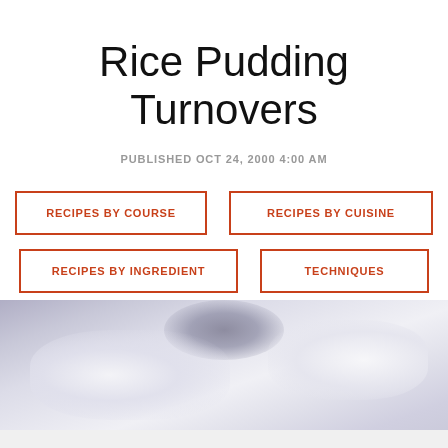Rice Pudding Turnovers
PUBLISHED OCT 24, 2000 4:00 AM
RECIPES BY COURSE
RECIPES BY CUISINE
RECIPES BY INGREDIENT
TECHNIQUES
[Figure (photo): Close-up photo of dough or pastry being worked, light lavender-white tones]